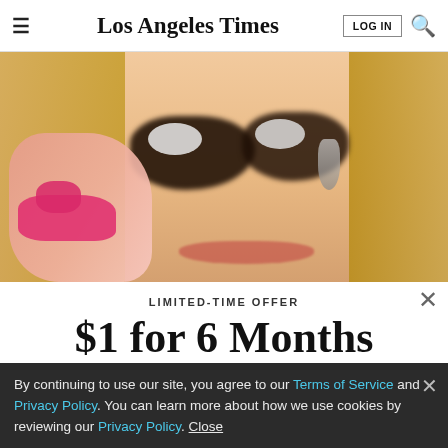Los Angeles Times
[Figure (photo): Close-up photo of a woman with dramatic dark eye makeup (heavy mascara/lash art), blonde hair, pink nails, touching her face near her eye, wearing a drop earring.]
LIMITED-TIME OFFER
$1 for 6 Months
SUBSCRIBE NOW
By continuing to use our site, you agree to our Terms of Service and Privacy Policy. You can learn more about how we use cookies by reviewing our Privacy Policy. Close